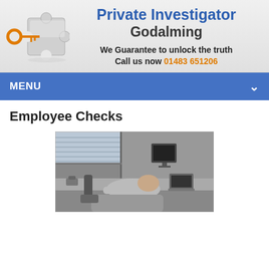[Figure (logo): Key unlocking a puzzle piece logo]
Private Investigator Godalming
We Guarantee to unlock the truth
Call us now 01483 651206
MENU
Employee Checks
[Figure (photo): Black and white photo of a person slumped over a desk in an office cubicle with a computer monitor]